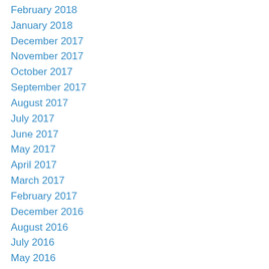February 2018
January 2018
December 2017
November 2017
October 2017
September 2017
August 2017
July 2017
June 2017
May 2017
April 2017
March 2017
February 2017
December 2016
August 2016
July 2016
May 2016
April 2016
March 2016
February 2016